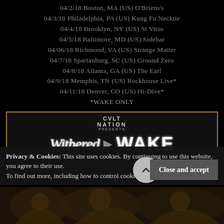04/2/18 Boston, MA (US) O'Briens's
04/3/18 Philadelphia, PA (US) Kung Fu Necktie
04/4/18 Brooklyn, NY (US) St Vitus
04/5/18 Baltimore, MD (US) Sidebar
04/06/18 Richmond, VA (US) Strange Matter
04/7/18 Spartanburg, SC (US) Ground Zero
04/8/18 Atlanta, GA (US) The Earl
04/9/18 Memphis, TN (US) Rockhouse Live*
04/11/18 Denver, CO (US) Hi-Dive*
*WAKE ONLY
[Figure (logo): CVLT Nation Presents banner featuring Withered and WAKE band names in stylized text on dark background with gold border]
Privacy & Cookies: This site uses cookies. By continuing to use this website, you agree to their use.
To find out more, including how to control cookies, see here: Cookie Policy
[Figure (illustration): Dark fantasy/metal artwork visible at bottom of page]